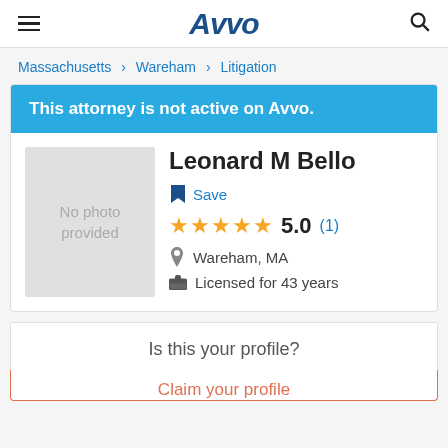Avvo
Massachusetts > Wareham > Litigation
This attorney is not active on Avvo.
Leonard M Bello
Save
5.0 (1)
Wareham, MA
Licensed for 43 years
Is this your profile?
Claim your profile